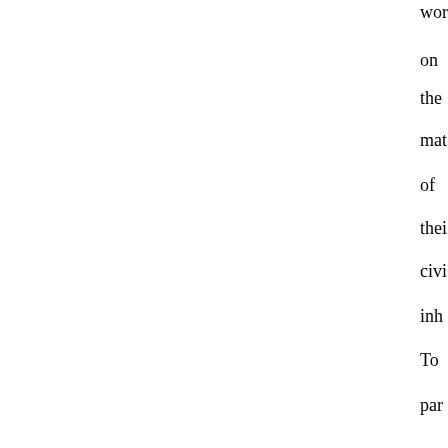wor on the mat of their civi inh To par in hist is to mal tran use of the stu of hist rep and